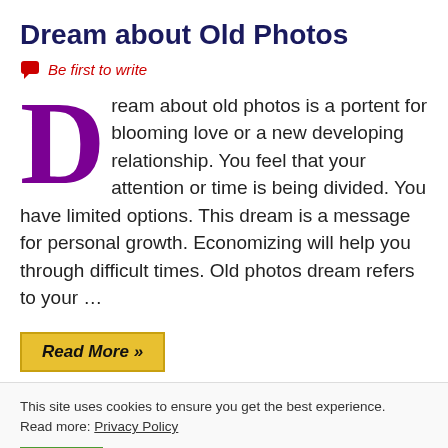Dream about Old Photos
💬 Be first to write
Dream about old photos is a portent for blooming love or a new developing relationship. You feel that your attention or time is being divided. You have limited options. This dream is a message for personal growth. Economizing will help you through difficult times. Old photos dream refers to your …
Read More »
This site uses cookies to ensure you get the best experience. Read more: Privacy Policy
OK